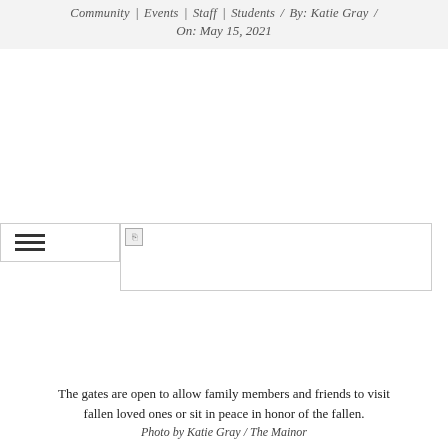Community | Events | Staff | Students / By: Katie Gray / On: May 15, 2021
[Figure (photo): Broken image placeholder representing a photo, with a hamburger menu icon on the left side]
The gates are open to allow family members and friends to visit fallen loved ones or sit in peace in honor of the fallen.
Photo by Katie Gray / The Mainor